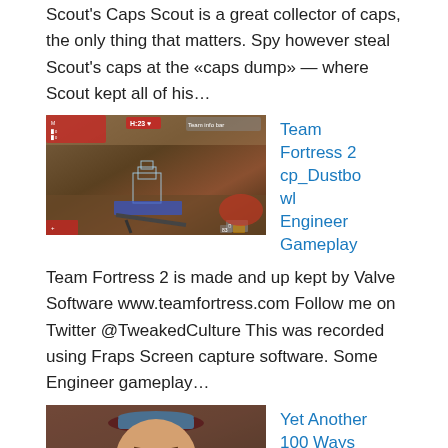Scout's Caps Scout is a great collector of caps, the only thing that matters. Spy however steal Scout's caps at the «caps dump» — where Scout kept all of his…
[Figure (screenshot): Team Fortress 2 in-game screenshot showing Engineer gameplay on cp_Dustbowl map]
Team Fortress 2
cp_Dustbowl
Engineer Gameplay
Team Fortress 2 is made and up kept by Valve Software www.teamfortress.com Follow me on Twitter @TweakedCulture This was recorded using Fraps Screen capture software. Some Engineer gameplay…
[Figure (screenshot): Team Fortress 2 character close-up screenshot showing a character with a cap]
Yet Another 100 Ways to Die in Team